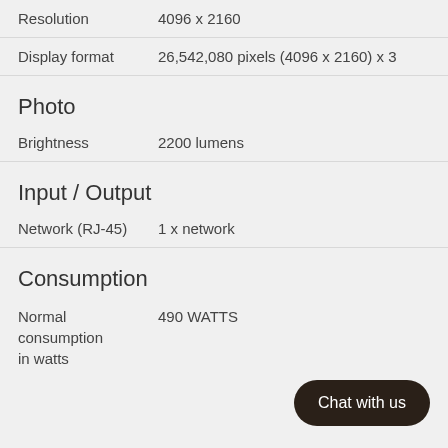| Property | Value |
| --- | --- |
| Resolution | 4096 x 2160 |
| Display format | 26,542,080 pixels (4096 x 2160) x 3 |
Photo
| Property | Value |
| --- | --- |
| Brightness | 2200 lumens |
Input / Output
| Property | Value |
| --- | --- |
| Network (RJ-45) | 1 x network |
Consumption
| Property | Value |
| --- | --- |
| Normal consumption in watts | 490 WATTS |
Chat with us